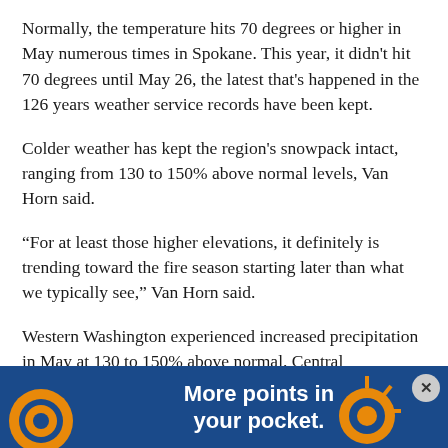Normally, the temperature hits 70 degrees or higher in May numerous times in Spokane. This year, it didn't hit 70 degrees until May 26, the latest that's happened in the 126 years weather service records have been kept.
Colder weather has kept the region's snowpack intact, ranging from 130 to 150% above normal levels, Van Horn said.
“For at least those higher elevations, it definitely is trending toward the fire season starting later than what we typically see,” Van Horn said.
Western Washington experienced increased precipitation in May at 130 to 150% above normal. Central Washington... between 70 to 9... n
[Figure (other): Advertisement banner: dark blue background with orange decorative coin/circle icons on left and right, white bold text 'More points in your pocket.' with close button X in top right corner.]